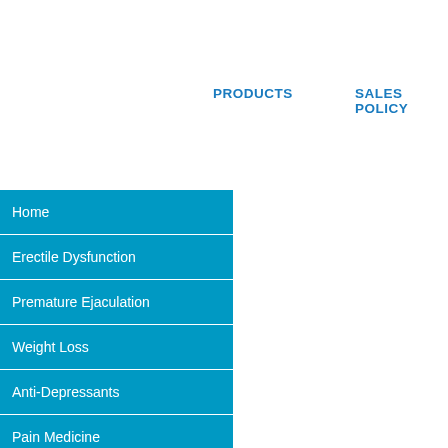PRODUCTS
SALES POLICY
Home
Erectile Dysfunction
Premature Ejaculation
Weight Loss
Anti-Depressants
Pain Medicine
Other Products